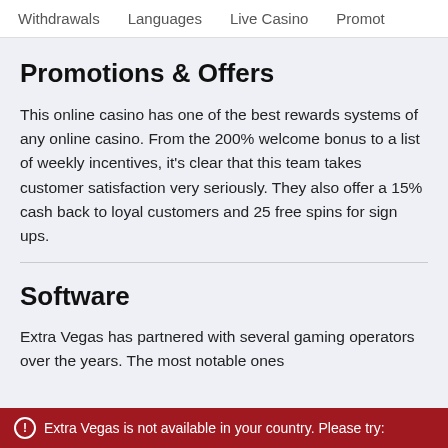Withdrawals   Languages   Live Casino   Promot
Promotions & Offers
This online casino has one of the best rewards systems of any online casino. From the 200% welcome bonus to a list of weekly incentives, it's clear that this team takes customer satisfaction very seriously. They also offer a 15% cash back to loyal customers and 25 free spins for sign ups.
Software
Extra Vegas has partnered with several gaming operators over the years. The most notable ones
Extra Vegas is not available in your country. Please try: